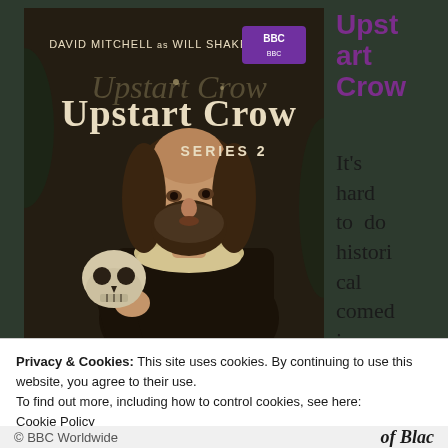[Figure (photo): BBC Upstart Crow Series 2 DVD/series cover showing David Mitchell as Will Shakespeare in period costume holding a skull, with BBC logo top right and text 'DAVID MITCHELL as WILL SHAKESPEARE' and 'Upstart Crow SERIES 2']
Upstart Crow
It's hard to do historical comedi
Privacy & Cookies: This site uses cookies. By continuing to use this website, you agree to their use.
To find out more, including how to control cookies, see here:
Cookie Policy
Close and accept
© BBC Worldwide    of Blac